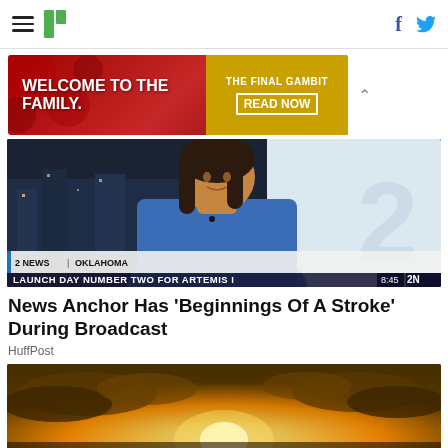HuffPost navigation with hamburger menu, logo, Facebook and Twitter icons
[Figure (photo): Advertisement banner: 'Welcome to the Family' on red background with roses, and 'The Final Gambit - Read Now' on gold background]
[Figure (screenshot): News broadcast screenshot showing female anchor in blue top at desk, chyron reads '2 NEWS | OKLAHOMA' and 'LAUNCH DAY NUMBER TWO FOR ARTEMIS I', time shows 8:45]
News Anchor Has 'Beginnings Of A Stroke' During Broadcast
HuffPost
[Figure (photo): Sunset photo showing bright sun breaking through dramatic clouds with golden light]